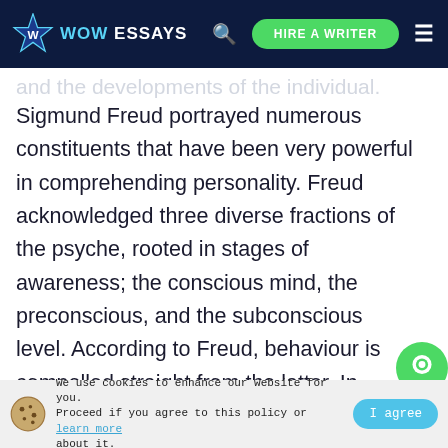WOW ESSAYS | HIRE A WRITER
and the developments of the individual. Sigmund Freud portrayed numerous constituents that have been very powerful in comprehending personality. Freud acknowledged three diverse fractions of the psyche, rooted in stages of awareness; the conscious mind, the preconscious, and the subconscious level. According to Freud, behaviour is compelled straight from the latter. In addition, a person's behaviours are the consequence of the id, the ego, and the superego and interactions. This generates variance, which produces
We use cookies to enhance our website for you. Proceed if you agree to this policy or learn more about it.